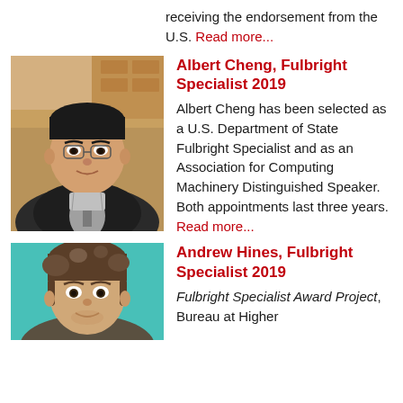receiving the endorsement from the U.S. Read more...
[Figure (photo): Photo of Albert Cheng]
Albert Cheng, Fulbright Specialist 2019
Albert Cheng has been selected as a U.S. Department of State Fulbright Specialist and as an Association for Computing Machinery Distinguished Speaker. Both appointments last three years. Read more...
[Figure (photo): Photo of Andrew Hines]
Andrew Hines, Fulbright Specialist 2019
Fulbright Specialist Award Project, Bureau at Higher